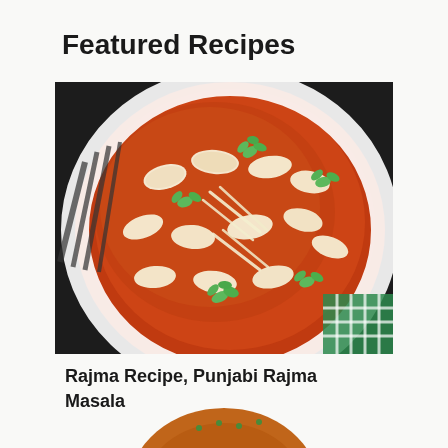Featured Recipes
[Figure (photo): Overhead close-up photo of Rajma (red kidney bean curry) in a white bowl with black stripes, garnished with fresh green cilantro leaves and ginger julienne strips, served in a rich dark red tomato-based gravy. A green checkered cloth is visible in the bottom right corner. Dark background.]
Rajma Recipe, Punjabi Rajma Masala
[Figure (photo): Partial view of a second recipe dish at the bottom of the page, showing a bowl with orange-brown curry, partially cropped.]